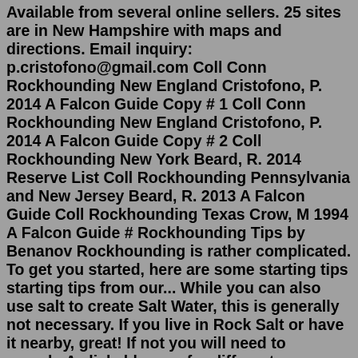Available from several online sellers. 25 sites are in New Hampshire with maps and directions. Email inquiry: p.cristofono@gmail.com Coll Conn Rockhounding New England Cristofono, P. 2014 A Falcon Guide Copy # 1 Coll Conn Rockhounding New England Cristofono, P. 2014 A Falcon Guide Copy # 2 Coll Rockhounding New York Beard, R. 2014 Reserve List Coll Rockhounding Pennsylvania and New Jersey Beard, R. 2013 A Falcon Guide Coll Rockhounding Texas Crow, M 1994 A Falcon Guide # Rockhounding Tips by Benanov Rockhounding is rather complicated. To get you started, here are some starting tips starting tips from our... While you can also use salt to create Salt Water, this is generally not necessary. If you live in Rock Salt or have it nearby, great! If not you will need to spend...A clickable map for different rockhounding sites located across the United States. Find a rockhounding site near you easitly by using this map. Abandoned Locomotives, The Allagash, Maine. One of the ghost locomotives in the Allagash wilderness. Deep in the heart of Maine's